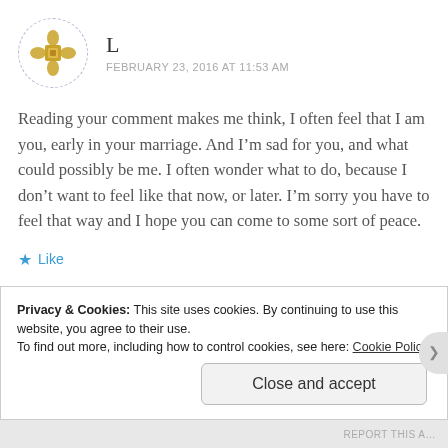[Figure (illustration): Circular avatar with dashed border containing a gold/yellow decorative tile/flower pattern icon]
L
FEBRUARY 23, 2016 AT 11:53 AM
Reading your comment makes me think, I often feel that I am you, early in your marriage. And I’m sad for you, and what could possibly be me. I often wonder what to do, because I don’t want to feel like that now, or later. I’m sorry you have to feel that way and I hope you can come to some sort of peace.
★ Like
Privacy & Cookies: This site uses cookies. By continuing to use this website, you agree to their use.
To find out more, including how to control cookies, see here: Cookie Policy
Close and accept